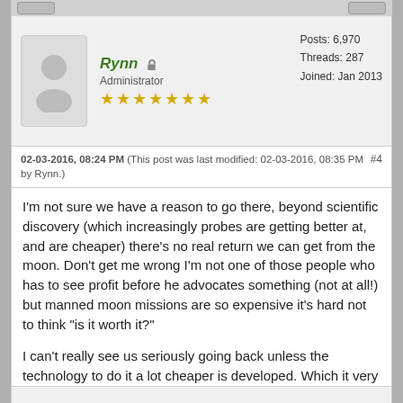Rynn 🔒 Administrator ★★★★★★★ Posts: 6,970 Threads: 287 Joined: Jan 2013
02-03-2016, 08:24 PM (This post was last modified: 02-03-2016, 08:35 PM by Rynn.) #4
I'm not sure we have a reason to go there, beyond scientific discovery (which increasingly probes are getting better at, and are cheaper) there's no real return we can get from the moon. Don't get me wrong I'm not one of those people who has to see profit before he advocates something (not at all!) but manned moon missions are so expensive it's hard not to think "is it worth it?"
I can't really see us seriously going back unless the technology to do it a lot cheaper is developed. Which it very well could be (reusable rockets, automation in general etc) but I'm not counting on it.